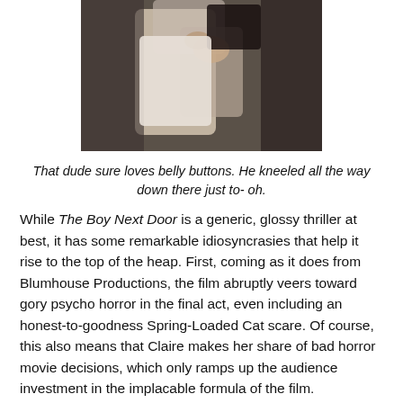[Figure (photo): A man kneeling in front of a woman, partially visible torso and hands, intimate pose, indoor setting.]
That dude sure loves belly buttons. He kneeled all the way down there just to- oh.
While The Boy Next Door is a generic, glossy thriller at best, it has some remarkable idiosyncrasies that help it rise to the top of the heap. First, coming as it does from Blumhouse Productions, the film abruptly veers toward gory psycho horror in the final act, even including an honest-to-goodness Spring-Loaded Cat scare. Of course, this also means that Claire makes her share of bad horror movie decisions, which only ramps up the audience investment in the implacable formula of the film. Sometimes you just gotta yell at that lazy-ass character who forgets to double tap - it's human nature.
In addition to this surprising turn of events, The Boy Next Door is almost shockingly shot from a female perspective.